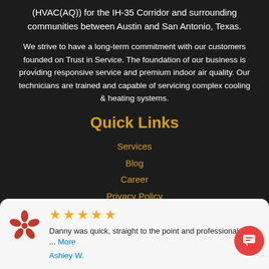(HVAC(AQ)) for the IH-35 Corridor and surrounding communities between Austin and San Antonio, Texas.
We strive to have a long-term commitment with our customers founded on Trust in Service. The foundation of our business is providing responsive service and premium indoor air quality. Our technicians are trained and capable of servicing complex cooling & heating systems.
Quick Links
Services
Blog
Career
Privacy Policy
Site Map
[Figure (other): Yelp review card with 5 gold stars, Yelp logo, review text: 'Danny was quick, straight to the point and professional. We ... More', reviewer name: Ashley W. Also a red circular chat button on the right.]